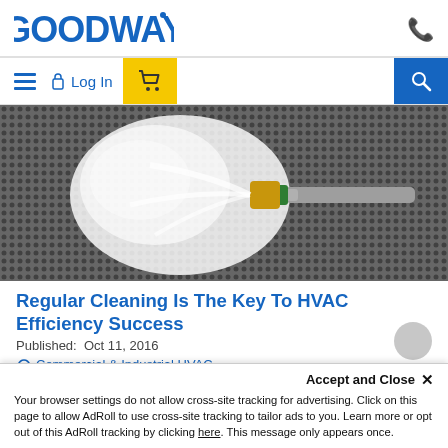GOODWAY
[Figure (screenshot): Website navigation bar with hamburger menu, Log In link, cart button (yellow), and search button (blue)]
[Figure (photo): Water spraying from a hose nozzle onto a metal mesh/grate, showing HVAC cleaning in action]
Regular Cleaning Is The Key To HVAC Efficiency Success
Published:  Oct 11, 2016
Commercial & Industrial HVAC
Your browser settings do not allow cross-site tracking for advertising. Click on this page to allow AdRoll to use cross-site tracking to tailor ads to you. Learn more or opt out of this AdRoll tracking by clicking here. This message only appears once.